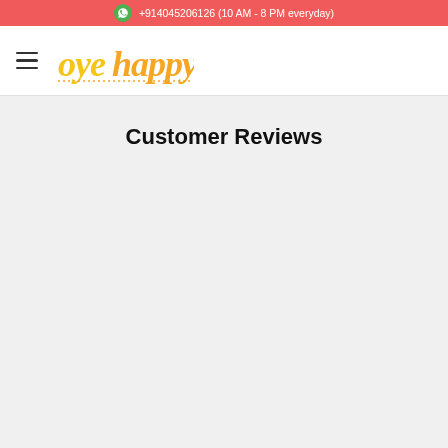+914045206126 (10 AM - 8 PM everyday)
[Figure (logo): Oye Happy logo in yellow handwritten-style font with hamburger menu icon]
Customer Reviews